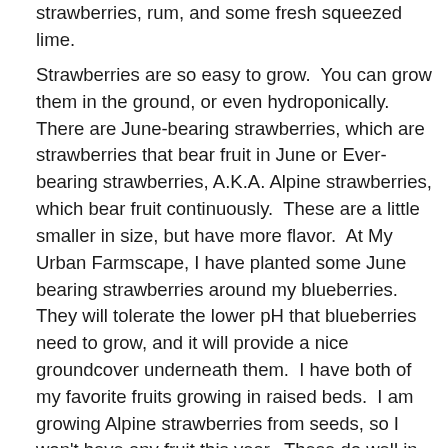strawberries, rum, and some fresh squeezed lime.
Strawberries are so easy to grow.  You can grow them in the ground, or even hydroponically.  There are June-bearing strawberries, which are strawberries that bear fruit in June or Ever-bearing strawberries, A.K.A. Alpine strawberries, which bear fruit continuously.  These are a little smaller in size, but have more flavor.  At My Urban Farmscape, I have planted some June bearing strawberries around my blueberries.  They will tolerate the lower pH that blueberries need to grow, and it will provide a nice groundcover underneath them.  I have both of my favorite fruits growing in raised beds.  I am growing Alpine strawberries from seeds, so I won't have any fruit this year.  These do well in containers, especially hanging baskets, which makes a perfect choice for smaller gardens.  I have to be quick to harvest, or protect the bed